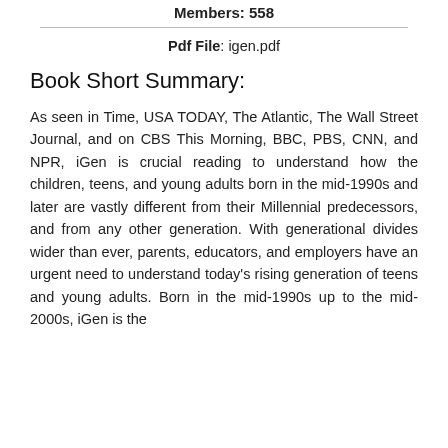Members: 558
Pdf File: igen.pdf
Book Short Summary:
As seen in Time, USA TODAY, The Atlantic, The Wall Street Journal, and on CBS This Morning, BBC, PBS, CNN, and NPR, iGen is crucial reading to understand how the children, teens, and young adults born in the mid-1990s and later are vastly different from their Millennial predecessors, and from any other generation. With generational divides wider than ever, parents, educators, and employers have an urgent need to understand today’s rising generation of teens and young adults. Born in the mid-1990s up to the mid-2000s, iGen is the